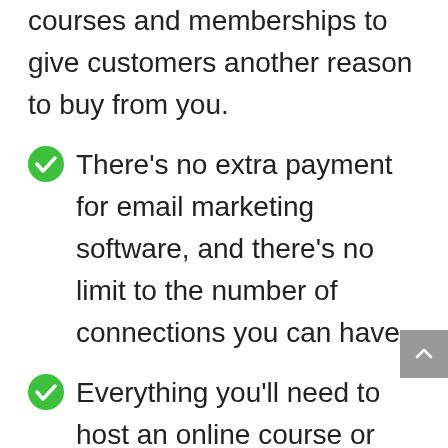courses and memberships to give customers another reason to buy from you.
There's no extra payment for email marketing software, and there's no limit to the number of connections you can have.
Everything you'll need to host an online course or membership site is included. You get landing pages, opt-in forms, and many more.
There's no limit to the number of courses you can create on Podia.
Podia is a simple to use platform that quickly creates a professional storefront